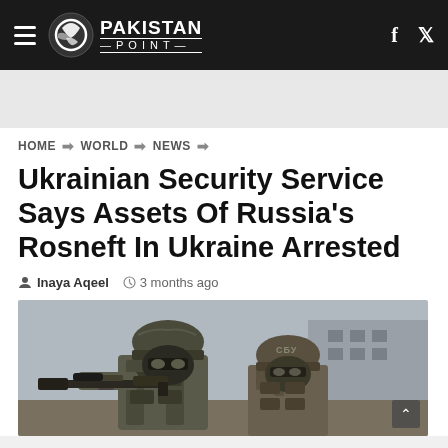Pakistan Point
HOME > WORLD > NEWS
Ukrainian Security Service Says Assets Of Russia's Rosneft In Ukraine Arrested
Inaya Aqeel  3 months ago
[Figure (photo): Two armed military/security personnel in tactical gear and helmets, one holding a rifle, appearing to be Ukrainian security forces (SBU). Outdoor setting with buildings in background.]